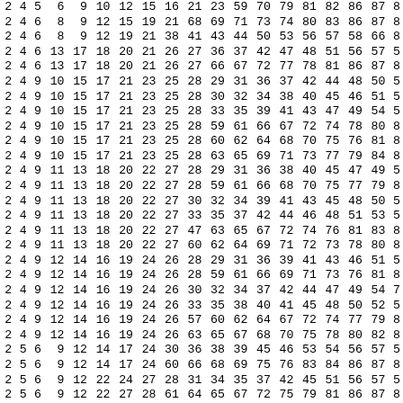| 2 | 4 | 5 | 6 | 9 | 10 | 12 | 15 | 16 | 21 | 23 | 59 | 70 | 79 | 81 | 82 | 86 | 87 | 8 |
| 2 | 4 | 6 | 8 | 9 | 12 | 15 | 19 | 21 | 68 | 69 | 71 | 73 | 74 | 80 | 83 | 86 | 87 | 8 |
| 2 | 4 | 6 | 8 | 9 | 12 | 19 | 21 | 38 | 41 | 43 | 44 | 50 | 53 | 56 | 57 | 58 | 66 | 8 |
| 2 | 4 | 6 | 13 | 17 | 18 | 20 | 21 | 26 | 27 | 36 | 37 | 42 | 47 | 48 | 51 | 56 | 57 | 5 |
| 2 | 4 | 6 | 13 | 17 | 18 | 20 | 21 | 26 | 27 | 66 | 67 | 72 | 77 | 78 | 81 | 86 | 87 | 8 |
| 2 | 4 | 9 | 10 | 15 | 17 | 21 | 23 | 25 | 28 | 29 | 31 | 36 | 37 | 42 | 44 | 48 | 50 | 5 |
| 2 | 4 | 9 | 10 | 15 | 17 | 21 | 23 | 25 | 28 | 30 | 32 | 34 | 38 | 40 | 45 | 46 | 51 | 5 |
| 2 | 4 | 9 | 10 | 15 | 17 | 21 | 23 | 25 | 28 | 33 | 35 | 39 | 41 | 43 | 47 | 49 | 54 | 5 |
| 2 | 4 | 9 | 10 | 15 | 17 | 21 | 23 | 25 | 28 | 59 | 61 | 66 | 67 | 72 | 74 | 78 | 80 | 8 |
| 2 | 4 | 9 | 10 | 15 | 17 | 21 | 23 | 25 | 28 | 60 | 62 | 64 | 68 | 70 | 75 | 76 | 81 | 8 |
| 2 | 4 | 9 | 10 | 15 | 17 | 21 | 23 | 25 | 28 | 63 | 65 | 69 | 71 | 73 | 77 | 79 | 84 | 8 |
| 2 | 4 | 9 | 11 | 13 | 18 | 20 | 22 | 27 | 28 | 29 | 31 | 36 | 38 | 40 | 45 | 47 | 49 | 5 |
| 2 | 4 | 9 | 11 | 13 | 18 | 20 | 22 | 27 | 28 | 59 | 61 | 66 | 68 | 70 | 75 | 77 | 79 | 8 |
| 2 | 4 | 9 | 11 | 13 | 18 | 20 | 22 | 27 | 30 | 32 | 34 | 39 | 41 | 43 | 45 | 48 | 50 | 5 |
| 2 | 4 | 9 | 11 | 13 | 18 | 20 | 22 | 27 | 33 | 35 | 37 | 42 | 44 | 46 | 48 | 51 | 53 | 5 |
| 2 | 4 | 9 | 11 | 13 | 18 | 20 | 22 | 27 | 47 | 63 | 65 | 67 | 72 | 74 | 76 | 81 | 83 | 8 |
| 2 | 4 | 9 | 11 | 13 | 18 | 20 | 22 | 27 | 60 | 62 | 64 | 69 | 71 | 72 | 73 | 78 | 80 | 8 |
| 2 | 4 | 9 | 12 | 14 | 16 | 19 | 24 | 26 | 28 | 29 | 31 | 36 | 39 | 41 | 43 | 46 | 51 | 5 |
| 2 | 4 | 9 | 12 | 14 | 16 | 19 | 24 | 26 | 28 | 59 | 61 | 66 | 69 | 71 | 73 | 76 | 81 | 8 |
| 2 | 4 | 9 | 12 | 14 | 16 | 19 | 24 | 26 | 30 | 32 | 34 | 37 | 42 | 44 | 47 | 49 | 54 | 7 |
| 2 | 4 | 9 | 12 | 14 | 16 | 19 | 24 | 26 | 33 | 35 | 38 | 40 | 41 | 45 | 48 | 50 | 52 | 5 |
| 2 | 4 | 9 | 12 | 14 | 16 | 19 | 24 | 26 | 57 | 60 | 62 | 64 | 67 | 72 | 74 | 77 | 79 | 8 |
| 2 | 4 | 9 | 12 | 14 | 16 | 19 | 24 | 26 | 63 | 65 | 67 | 68 | 70 | 75 | 78 | 80 | 82 | 8 |
| 2 | 5 | 6 | 9 | 12 | 14 | 17 | 24 | 30 | 36 | 38 | 39 | 45 | 46 | 53 | 54 | 56 | 57 | 5 |
| 2 | 5 | 6 | 9 | 12 | 14 | 17 | 24 | 60 | 66 | 68 | 69 | 75 | 76 | 83 | 84 | 86 | 87 | 8 |
| 2 | 5 | 6 | 9 | 12 | 22 | 24 | 27 | 28 | 31 | 34 | 35 | 37 | 42 | 45 | 51 | 56 | 57 | 5 |
| 2 | 5 | 6 | 9 | 12 | 22 | 27 | 28 | 61 | 64 | 65 | 67 | 72 | 75 | 79 | 81 | 86 | 87 | 8 |
| 2 | 5 | 8 | 10 | 13 | 16 | 21 | 24 | 27 | 28 | 31 | 34 | 39 | 42 | 45 | 47 | 50 | 53 | 5 |
| 2 | 5 | 8 | 10 | 13 | 16 | 21 | 24 | 27 | 28 | 61 | 64 | 69 | 72 | 75 | 77 | 80 | 83 | 8 |
| 2 | 5 | 8 | 10 | 13 | 16 | 21 | 24 | 27 | 29 | 32 | 35 | 37 | 38 | 40 | 43 | 48 | 51 | 5 |